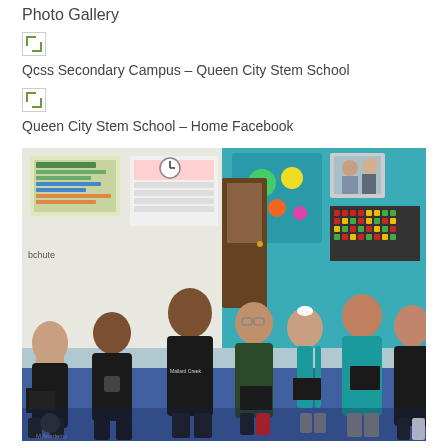Photo Gallery
[Figure (other): Broken image placeholder (thumbnail not loaded)]
Qcss Secondary Campus – Queen City Stem School
[Figure (other): Broken image placeholder (thumbnail not loaded)]
Queen City Stem School – Home Facebook
[Figure (photo): Group photo of seven elementary school children standing in a classroom, each holding dark-colored artwork/cards. The children are wearing various school shirts including 'Mallard Creek' and 'T Academy' branded clothing. The classroom background shows colorful posters, a whiteboard, and educational displays on a teal-accented wall.]